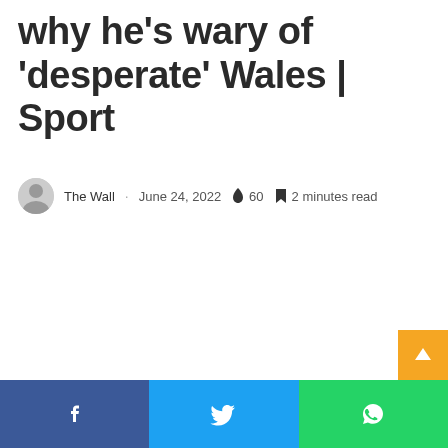why he’s wary of ‘desperate’ Wales | Sport
The Wall · June 24, 2022 🔥 60 📖 2 minutes read